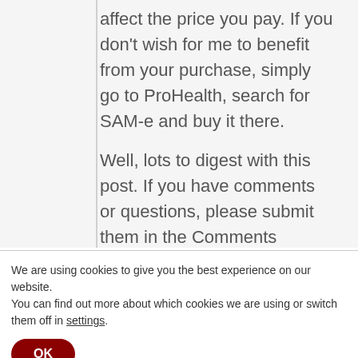affect the price you pay.  If you don't wish for me to benefit from your purchase, simply go to ProHealth, search for SAM-e and buy it there.
Well, lots to digest with this post.  If you have comments or questions, please submit them in the Comments section below.
We are using cookies to give you the best experience on our website.
You can find out more about which cookies we are using or switch them off in settings.